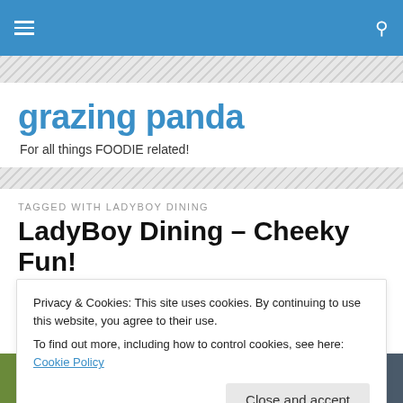grazing panda – navigation bar
grazing panda
For all things FOODIE related!
TAGGED WITH LADYBOY DINING
LadyBoy Dining – Cheeky Fun!
Privacy & Cookies: This site uses cookies. By continuing to use this website, you agree to their use.
To find out more, including how to control cookies, see here: Cookie Policy
Close and accept